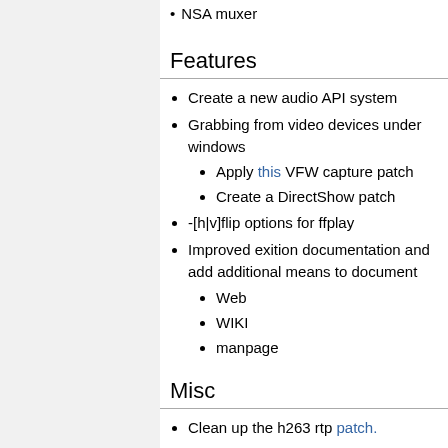NSA muxer
Features
Create a new audio API system
Grabbing from video devices under windows
Apply this VFW capture patch
Create a DirectShow patch
-[h|v]flip options for ffplay
Improved exition documentation and add additional means to document
Web
WIKI
manpage
Misc
Clean up the h263 rtp patch.